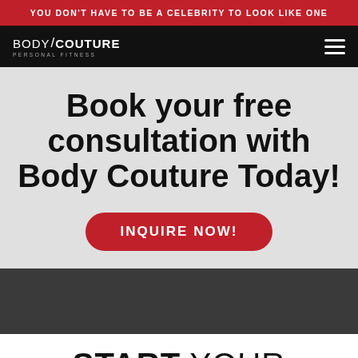YOU DON'T HAVE TO BE A CELEBRITY TO LOOK LIKE ONE
[Figure (logo): Body Couture Personal Fitness logo in white on black background with hamburger menu icon]
Book your free consultation with Body Couture Today!
INQUIRE NOW!
START YOUR JOURNEY